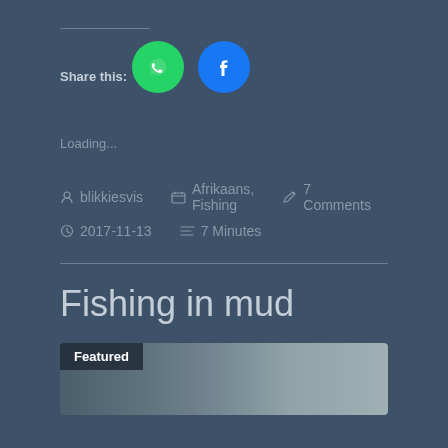Share this:
[Figure (illustration): WhatsApp share button (green circle with WhatsApp logo) and Facebook share button (blue circle with Facebook logo)]
Loading...
blikkiesvis   Afrikaans, Fishing   7 Comments   2017-11-13   7 Minutes
Fishing in mud
[Figure (photo): Featured image card showing a close-up fishing reel photo with 'Featured' label overlay]